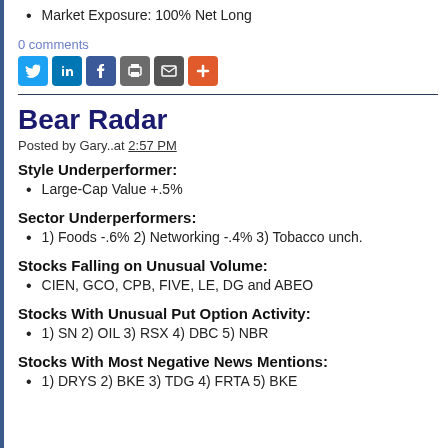Market Exposure: 100% Net Long
0 comments
[Figure (other): Social share icons: Twitter, LinkedIn, Facebook, Print, Email, Plus]
Bear Radar
Posted by Gary..at 2:57 PM
Style Underperformer:
Large-Cap Value +.5%
Sector Underperformers:
1) Foods -.6% 2) Networking -.4% 3) Tobacco unch.
Stocks Falling on Unusual Volume:
CIEN, GCO, CPB, FIVE, LE, DG and ABEO
Stocks With Unusual Put Option Activity:
1) SN 2) OIL 3) RSX 4) DBC 5) NBR
Stocks With Most Negative News Mentions:
1) DRYS 2) BKE 3) TDG 4) FRTA 5) BKE